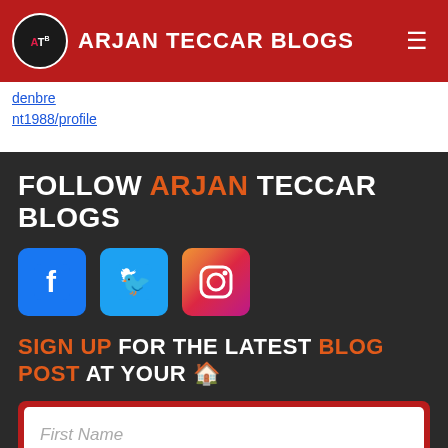ATB ARJAN TECCAR BLOGS
denbre nt1988/profile
FOLLOW ARJAN TECCAR BLOGS
[Figure (logo): Social media icons: Facebook (blue), Twitter (blue), Instagram (pink/gradient)]
SIGN UP FOR THE LATEST BLOG POST AT YOUR 🏠
First Name
Address